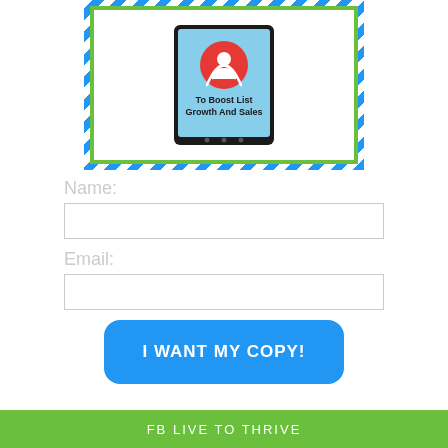[Figure (illustration): A tablet device with a red circular broadcast/live icon and text 'To Boost List Growth And Sales', surrounded by a blue diagonal stripe border with inner green border]
Name:
Email:
I WANT MY COPY!
FB LIVE TO THRIVE